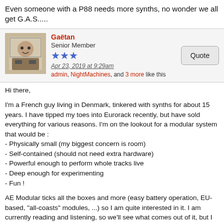Even someone with a P88 needs more synths, no wonder we all get G.A.S.....
Gaëtan
Senior Member
Apr 23, 2019 at 9:29am
admin, NightMachines, and 3 more like this
Hi there,

I'm a French guy living in Denmark, tinkered with synths for about 15 years. I have tipped my toes into Eurorack recently, but have sold everything for various reasons. I'm on the lookout for a modular system that would be :
- Physically small (my biggest concern is room)
- Self-contained (should not need extra hardware)
- Powerful enough to perform whole tracks live
- Deep enough for experimenting
- Fun !

AE Modular ticks all the boxes and more (easy battery operation, EU-based, "all-coasts" modules, ...) so I am quite interested in it. I am currently reading and listening, so we'll see what comes out of it, but I have been quite impressed so far.
pol
Wiki Editors
Apr 23, 2019 at 8:26pm